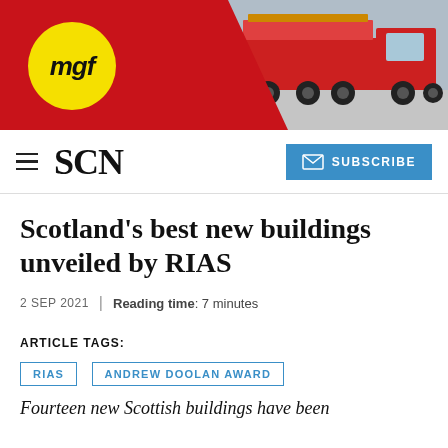[Figure (photo): MGF branded banner advertisement with yellow circle logo on red background and red truck on the right side]
SCN | SUBSCRIBE
Scotland's best new buildings unveiled by RIAS
2 SEP 2021 | Reading time: 7 minutes
ARTICLE TAGS:
RIAS
ANDREW DOOLAN AWARD
Fourteen new Scottish buildings have been